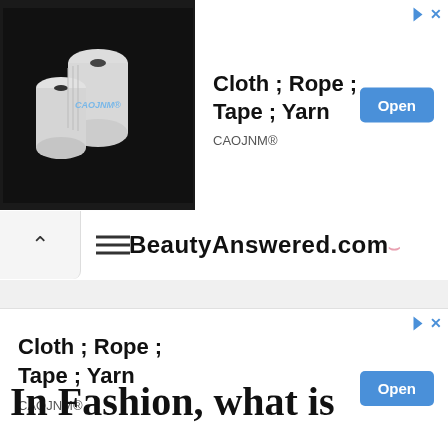[Figure (other): Advertisement banner with spools of white yarn/thread on black background, product title 'Cloth ; Rope ; Tape ; Yarn', brand 'CAOJNM®', and blue 'Open' button]
BeautyAnswered.com
[Figure (other): Advertisement banner (no image) with product title 'Cloth ; Rope ; Tape ; Yarn', brand 'CAOJNM®', and blue 'Open' button]
In Fashion, what is